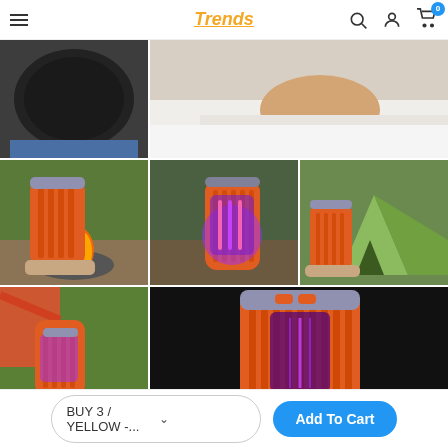Trends — navigation bar with hamburger menu, search, account, and cart (0 items)
[Figure (photo): Grid of 7 product photos showing an orange bug zapper / camping lantern device in various settings: top of device close-up, person in bed, hand holding device near campfire, device glowing purple-red on table outdoors, hand holding device near green tent, hand holding device in hammock area, close-up of device top in dark background.]
BUY 3 / YELLOW -...
Add To Cart